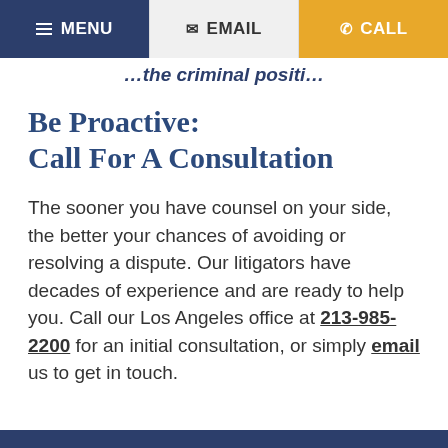MENU | EMAIL | CALL
…the criminal positi…
Be Proactive: Call For A Consultation
The sooner you have counsel on your side, the better your chances of avoiding or resolving a dispute. Our litigators have decades of experience and are ready to help you. Call our Los Angeles office at 213-985-2200 for an initial consultation, or simply email us to get in touch.